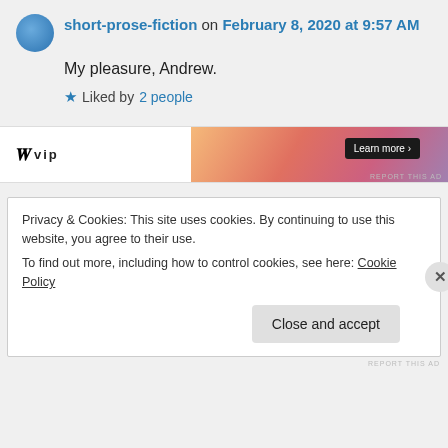short-prose-fiction on February 8, 2020 at 9:57 AM
My pleasure, Andrew.
★ Liked by 2 people
[Figure (other): Advertisement banner with W VIP logo and gradient background with Learn more button]
Privacy & Cookies: This site uses cookies. By continuing to use this website, you agree to their use.
To find out more, including how to control cookies, see here: Cookie Policy
Close and accept